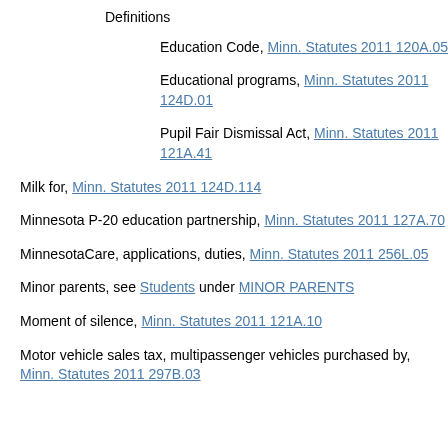Definitions
Education Code, Minn. Statutes 2011 120A.05
Educational programs, Minn. Statutes 2011 124D.01
Pupil Fair Dismissal Act, Minn. Statutes 2011 121A.41
Milk for, Minn. Statutes 2011 124D.114
Minnesota P-20 education partnership, Minn. Statutes 2011 127A.70
MinnesotaCare, applications, duties, Minn. Statutes 2011 256L.05
Minor parents, see Students under MINOR PARENTS
Moment of silence, Minn. Statutes 2011 121A.10
Motor vehicle sales tax, multipassenger vehicles purchased by, Minn. Statutes 2011 297B.03